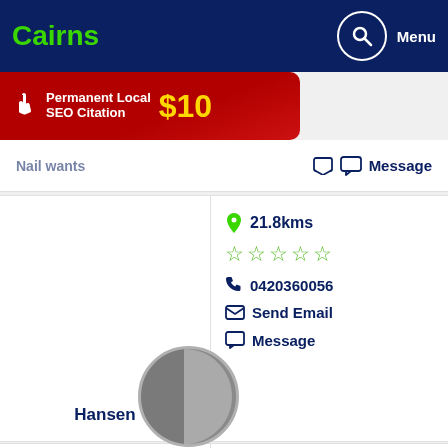Cairns
[Figure (infographic): Red ad banner: Permanent Local SEO Citation $10]
Message
Hansen — 21.8kms, 0 stars, 0420360056, Send Email, Message
Oliver Bacchus — 21.8kms, 0 stars, 0401365674, Send Email, Message